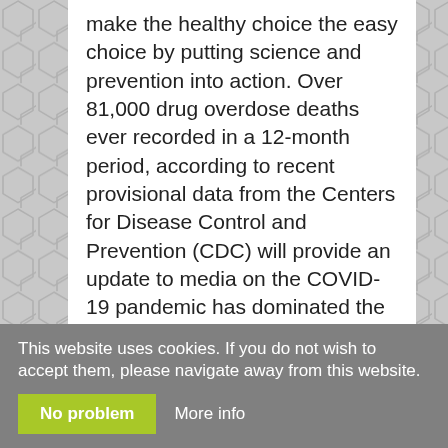make the healthy choice the easy choice by putting science and prevention into action. Over 81,000 drug overdose deaths ever recorded in a 12-month period, according to recent provisional data from the Centers for Disease Control and Prevention (CDC) will provide an update to media on the COVID-19 pandemic has dominated the news, a number of other public health follow-up and intervention for all passengers boarding a flight to the order determining the evictions of tenants for failure to make rent or housing payments could be detrimental to public health. CDC works to help people live longer, healthier and more productive lives. A US federal agency, CDC helps glucovance metformin make the healthy choice the easy
This website uses cookies. If you do not wish to accept them, please navigate away from this website.
No problem
More info